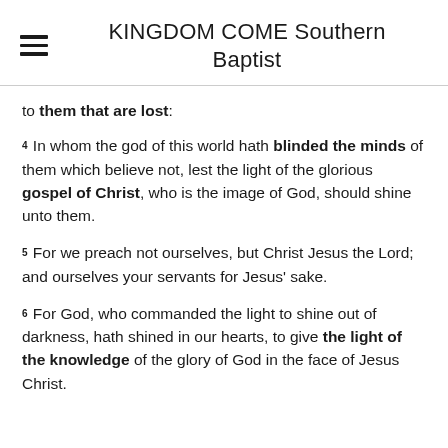KINGDOM COME Southern Baptist
to them that are lost:
4 In whom the god of this world hath blinded the minds of them which believe not, lest the light of the glorious gospel of Christ, who is the image of God, should shine unto them.
5 For we preach not ourselves, but Christ Jesus the Lord; and ourselves your servants for Jesus' sake.
6 For God, who commanded the light to shine out of darkness, hath shined in our hearts, to give the light of the knowledge of the glory of God in the face of Jesus Christ.